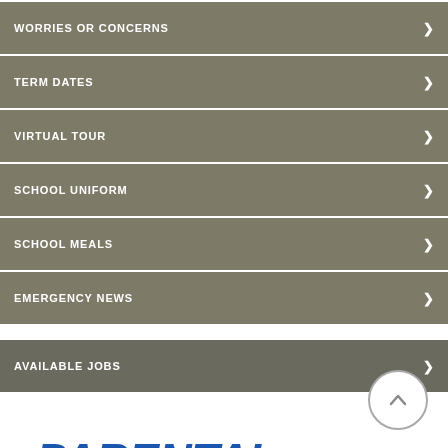WORRIES OR CONCERNS
TERM DATES
VIRTUAL TOUR
SCHOOL UNIFORM
SCHOOL MEALS
EMERGENCY NEWS
AVAILABLE JOBS
PARENTAL FEEDBACK